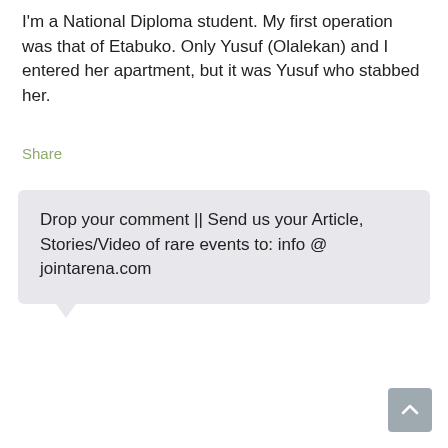I'm a National Diploma student. My first operation was that of Etabuko. Only Yusuf (Olalekan) and I entered her apartment, but it was Yusuf who stabbed her.
Share
Drop your comment || Send us your Article, Stories/Video of rare events to: info @ jointarena.com